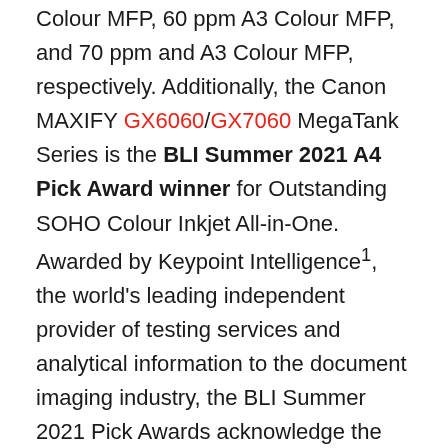Colour MFP, 60 ppm A3 Colour MFP, and 70 ppm and A3 Colour MFP, respectively. Additionally, the Canon MAXIFY GX6060/GX7060 MegaTank Series is the BLI Summer 2021 A4 Pick Award winner for Outstanding SOHO Colour Inkjet All-in-One. Awarded by Keypoint Intelligence1, the world's leading independent provider of testing services and analytical information to the document imaging industry, the BLI Summer 2021 Pick Awards acknowledge the Canon imageRUNNER ADVANCE DX A3 portfolio and Canon MAXIFY GX6060/GX7060 MegaTank Series delivered the best performances in Keypoint Intelligence's lab testing in the past six months.
Canon Consumer Mid Range Colour